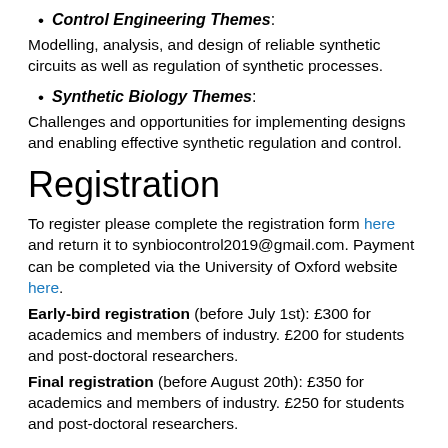Control Engineering Themes: Modelling, analysis, and design of reliable synthetic circuits as well as regulation of synthetic processes.
Synthetic Biology Themes: Challenges and opportunities for implementing designs and enabling effective synthetic regulation and control.
Registration
To register please complete the registration form here and return it to synbiocontrol2019@gmail.com. Payment can be completed via the University of Oxford website here.
Early-bird registration (before July 1st): £300 for academics and members of industry. £200 for students and post-doctoral researchers.
Final registration (before August 20th): £350 for academics and members of industry. £250 for students and post-doctoral researchers.